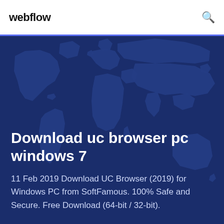webflow
Download uc browser pc windows 7
11 Feb 2019 Download UC Browser (2019) for Windows PC from SoftFamous. 100% Safe and Secure. Free Download (64-bit / 32-bit).